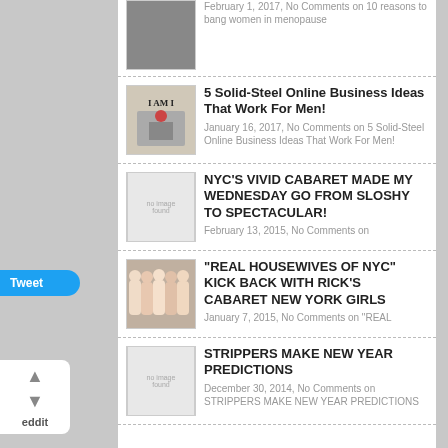February 1, 2017, No Comments on 10 reasons to bang women in menopause
5 Solid-Steel Online Business Ideas That Work For Men! January 16, 2017, No Comments on 5 Solid-Steel Online Business Ideas That Work For Men!
NYC'S VIVID CABARET MADE MY WEDNESDAY GO FROM SLOSHY TO SPECTACULAR! February 13, 2015, No Comments on NYC'S VIVID CABARET MADE MY WEDNESDAY GO FROM SLOSHY TO SPECTACULAR!
"REAL HOUSEWIVES OF NYC" KICK BACK WITH RICK'S CABARET NEW YORK GIRLS January 7, 2015, No Comments on "REAL
STRIPPERS MAKE NEW YEAR PREDICTIONS December 30, 2014, No Comments on STRIPPERS MAKE NEW YEAR PREDICTIONS